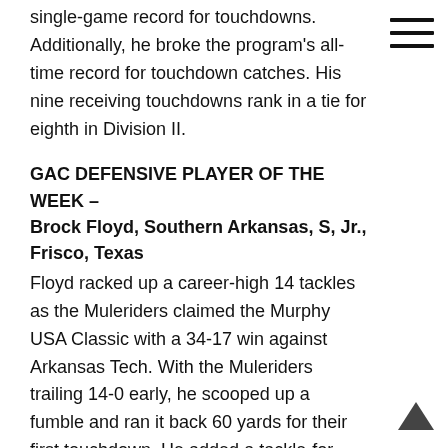single-game record for touchdowns. Additionally, he broke the program's all-time record for touchdown catches. His nine receiving touchdowns rank in a tie for eighth in Division II.
GAC DEFENSIVE PLAYER OF THE WEEK – Brock Floyd, Southern Arkansas, S, Jr., Frisco, Texas
Floyd racked up a career-high 14 tackles as the Muleriders claimed the Murphy USA Classic with a 34-17 win against Arkansas Tech. With the Muleriders trailing 14-0 early, he scooped up a fumble and ran it back 60 yards for their first touchdown. He added a tackle-for-loss as SAU defeated Tech for the third-straight time.